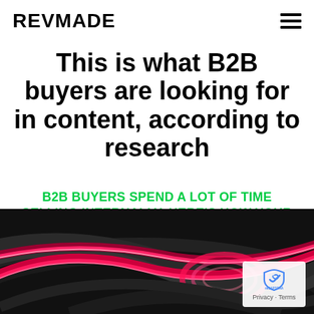REVMADE
This is what B2B buyers are looking for in content, according to research
B2B BUYERS SPEND A LOT OF TIME SELLING INTERNALLY. HERE'S HOW YOUR CONTENT CAN HELP THEM – AND YOU.
[Figure (photo): Abstract swirling glowing red, pink, and dark tube/ribbon shapes on a black background, curved spiral pattern]